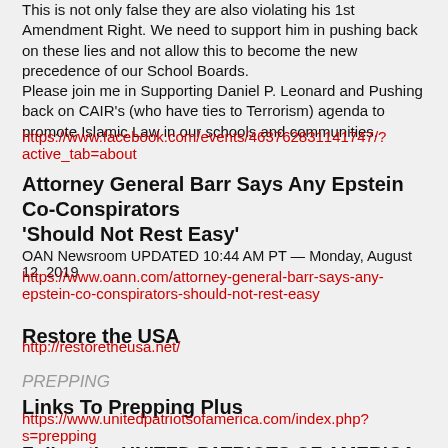This is not only false they are also violating his 1st Amendment Right. We need to support him in pushing back on these lies and not allow this to become the new precedence of our School Boards.
Please join me in Supporting Daniel P. Leonard and Pushing back on CAIR's (who have ties to Terrorism) agenda to promote Islamic Law in our schools and communities.
https://www.facebook.com/events/463762831141747/?active_tab=about
Attorney General Barr Says Any Epstein Co-Conspirators
'Should Not Rest Easy'
OAN Newsroom UPDATED 10:44 AM PT — Monday, August 12, 2019
https://www.oann.com/attorney-general-barr-says-any-epstein-co-conspirators-should-not-rest-easy
Restore the USA
http://restoretheusa.net/
PREPPING
Links To Prepping Plus
https://www.unitedpatriotsofamerica.com/index.php?s=prepping
Follow the UNITED PATRIOTS OF AMERICA (UPA)
Twitter – http://twitter.com/ronbassUPA